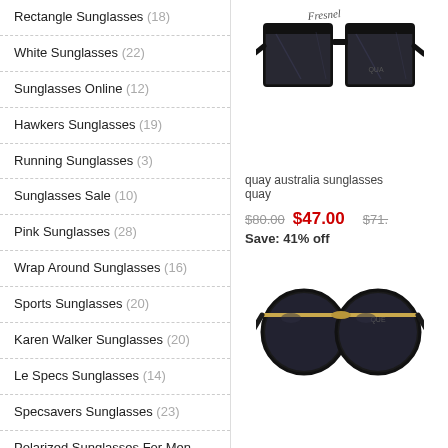Rectangle Sunglasses (18)
White Sunglasses (22)
Sunglasses Online (12)
Hawkers Sunglasses (19)
Running Sunglasses (3)
Sunglasses Sale (10)
Pink Sunglasses (28)
Wrap Around Sunglasses (16)
Sports Sunglasses (20)
Karen Walker Sunglasses (20)
Le Specs Sunglasses (14)
Specsavers Sunglasses (23)
Polarized Sunglasses For Men (18)
Carve Sunglasses (27)
Maui Jims Sunglasses (23)
Tortoise Shell Sunglasses (18)
[Figure (photo): Black flat-top rectangle sunglasses - quay australia style]
quay australia sunglasses
$80.00  $47.00  Save: 41% off  $71.
[Figure (photo): Round black sunglasses with gold bridge bar]